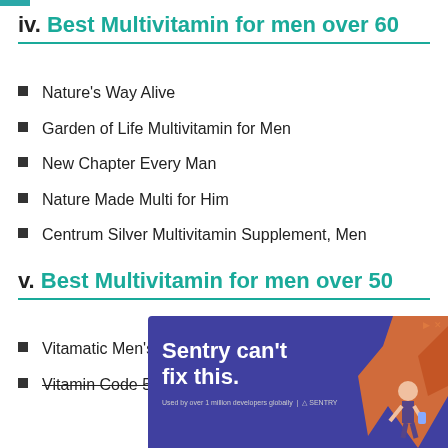iv. Best Multivitamin for men over 60
Nature's Way Alive
Garden of Life Multivitamin for Men
New Chapter Every Man
Nature Made Multi for Him
Centrum Silver Multivitamin Supplement, Men
v. Best Multivitamin for men over 50
Vitamatic Men's 50+
Vitamin Code 50
[Figure (other): Advertisement banner: purple background with text 'Sentry can't fix this.' and orange illustrated figure graphic on right. Ad controls showing skip/close buttons.]